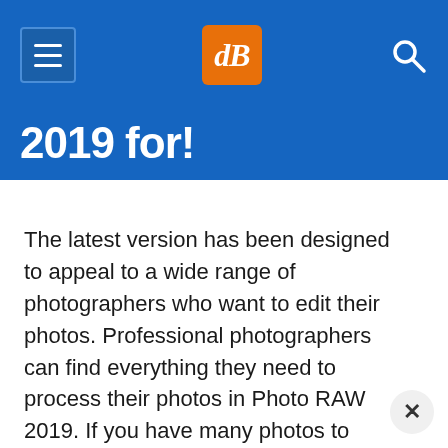[Figure (screenshot): Website navigation header bar with blue background, hamburger menu icon on left, orange dPS logo in center, search icon on right]
2019 for!
The latest version has been designed to appeal to a wide range of photographers who want to edit their photos. Professional photographers can find everything they need to process their photos in Photo RAW 2019. If you have many photos to process, all the tools and adjustments that you used in Lightroom are available. Accessing all those images that you have previously processed with Lightroom is simple